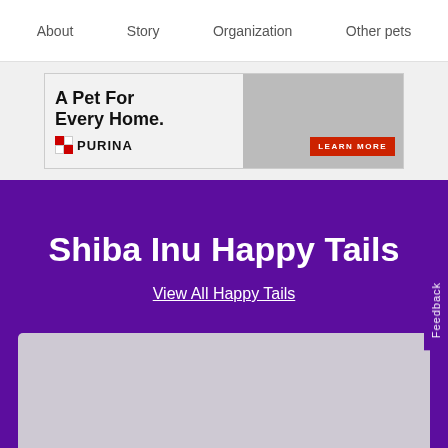About   Story   Organization   Other pets
[Figure (photo): Purina advertisement banner showing 'A Pet For Every Home.' with a dog and person, Purina logo, and Learn More button]
Shiba Inu Happy Tails
View All Happy Tails
[Figure (photo): Gray placeholder card area at bottom of purple section]